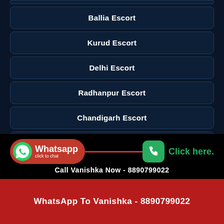Ballia Escort
Kurud Escort
Delhi Escort
Radhanpur Escort
Chandigarh Escort
Navrangpura Escort
Patiala Escort
Whatsapp click to chat
Click here.
Call Vanishka Now - 8890799022
WhatsApp To Vanishka - 8890799022